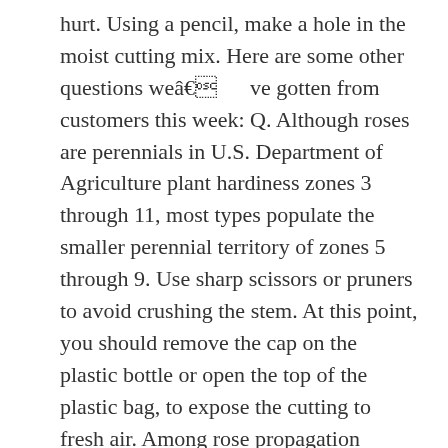hurt. Using a pencil, make a hole in the moist cutting mix. Here are some other questions weâve gotten from customers this week: Q. Although roses are perennials in U.S. Department of Agriculture plant hardiness zones 3 through 11, most types populate the smaller perennial territory of zones 5 through 9. Use sharp scissors or pruners to avoid crushing the stem. At this point, you should remove the cap on the plastic bottle or open the top of the plastic bag, to expose the cutting to fresh air. Among rose propagation techniques, rooting a cutting is a project that even beginners can tackle. There is nothing you can so to save it, and it is pretty difficult to get a rose hardwood cutting to root. In the wild, it grows from seed, but many hybrids grown today canât produce seeds of their own.If you want another of your seedless bushes, or if you just